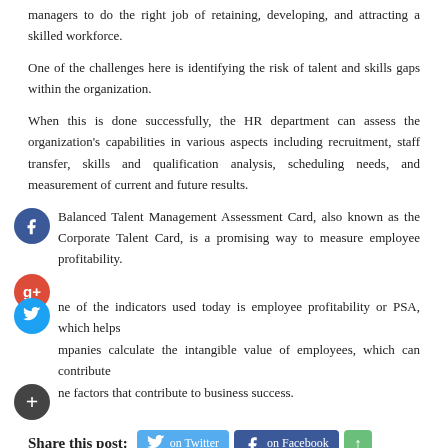managers to do the right job of retaining, developing, and attracting a skilled workforce.
One of the challenges here is identifying the risk of talent and skills gaps within the organization.
When this is done successfully, the HR department can assess the organization's capabilities in various aspects including recruitment, staff transfer, skills and qualification analysis, scheduling needs, and measurement of current and future results.
Balanced Talent Management Assessment Card, also known as the Corporate Talent Card, is a promising way to measure employee profitability.
One of the indicators used today is employee profitability or PSA, which helps companies calculate the intangible value of employees, which can contribute to the factors that contribute to business success.
Share this post: on Twitter on Facebook on Google+